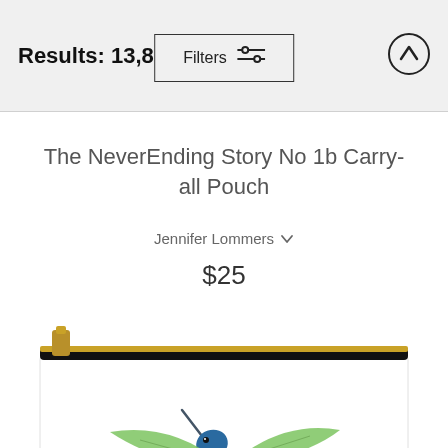Results: 13,814
Filters
The NeverEnding Story No 1b Carry-all Pouch
Jennifer Lommers
$25
[Figure (photo): A carry-all pouch with a watercolor illustration of a hummingbird in flight, showing colorful plumage in green, red, blue, and brown. The pouch has a gold zipper along the top and a white body.]